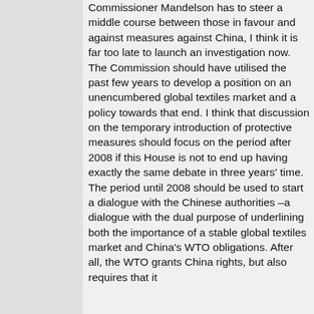Commissioner Mandelson has to steer a middle course between those in favour and against measures against China, I think it is far too late to launch an investigation now. The Commission should have utilised the past few years to develop a position on an unencumbered global textiles market and a policy towards that end. I think that discussion on the temporary introduction of protective measures should focus on the period after 2008 if this House is not to end up having exactly the same debate in three years' time. The period until 2008 should be used to start a dialogue with the Chinese authorities –a dialogue with the dual purpose of underlining both the importance of a stable global textiles market and China's WTO obligations. After all, the WTO grants China rights, but also requires that it